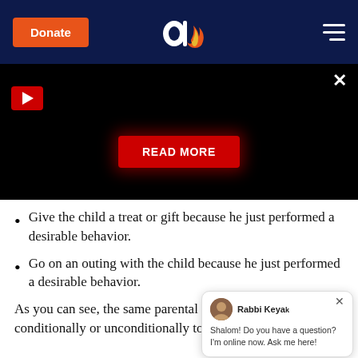[Figure (screenshot): Navigation bar with Donate button, Aish logo, and hamburger menu on dark navy background]
[Figure (screenshot): Black video panel with play button, close X, and READ MORE button with red glow]
Give the child a treat or gift because he just performed a desirable behavior.
Go on an outing with the child because he just performed a desirable behavior.
As you can see, the same parental action can be given either conditionally or unconditionally to the child. When it is given...